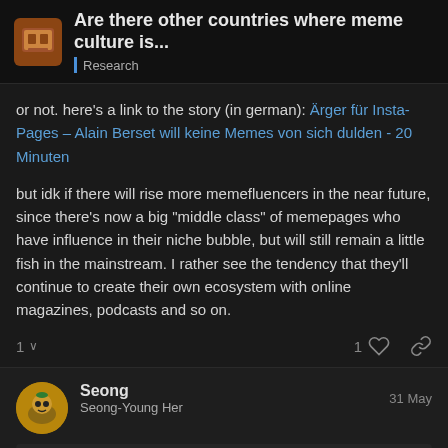Are there other countries where meme culture is... | Research
or not. here's a link to the story (in german): Ärger für Insta-Pages – Alain Berset will keine Memes von sich dulden - 20 Minuten
but idk if there will rise more memefluencers in the near future, since there's now a big "middle class" of memepages who have influence in their niche bubble, but will still remain a little fish in the mainstream. I rather see the tendency that they'll continue to create their own ecosystem with online magazines, podcasts and so on.
1 ∨   1 ♡ 🔗
Seong
Seong-Young Her
31 May
stewia:
but idk if there will rise more memefluencers
7/9